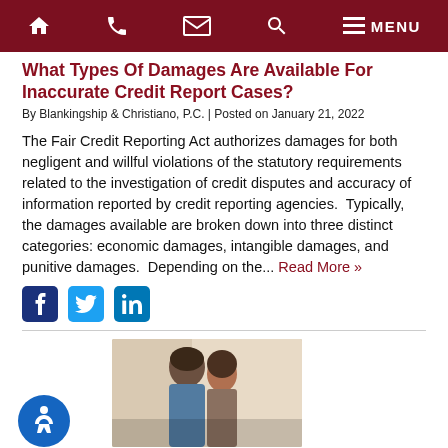MENU
What Types Of Damages Are Available For Inaccurate Credit Report Cases?
By Blankingship & Christiano, P.C. | Posted on January 21, 2022
The Fair Credit Reporting Act authorizes damages for both negligent and willful violations of the statutory requirements related to the investigation of credit disputes and accuracy of information reported by credit reporting agencies.  Typically, the damages available are broken down into three distinct categories: economic damages, intangible damages, and punitive damages.  Depending on the... Read More »
[Figure (infographic): Social media share icons: Facebook (blue square with f), Twitter (cyan bird icon), LinkedIn (blue square with in)]
[Figure (photo): Photo of a man and woman looking down together, appearing to review documents, cropped at bottom of page]